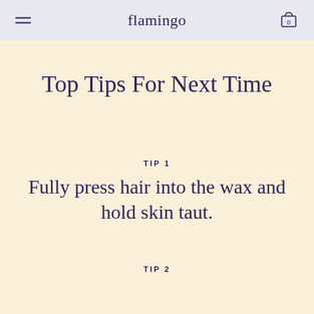flamingo
Top Tips For Next Time
TIP 1
Fully press hair into the wax and hold skin taut.
TIP 2